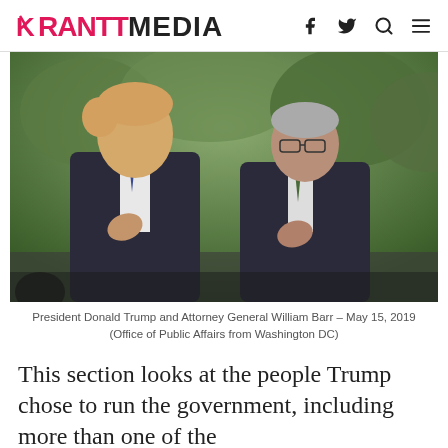RANTT MEDIA
[Figure (photo): President Donald Trump and Attorney General William Barr standing side by side with hands over hearts, outdoors with green trees in background – May 15, 2019]
President Donald Trump and Attorney General William Barr – May 15, 2019
(Office of Public Affairs from Washington DC)
This section looks at the people Trump chose to run the government, including more than one of the